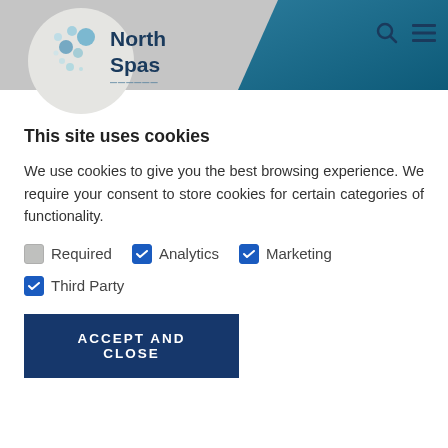[Figure (logo): North Spas logo with bubbles and text]
This site uses cookies
We use cookies to give you the best browsing experience. We require your consent to store cookies for certain categories of functionality.
Required (greyed checkbox), Analytics (blue checked checkbox), Marketing (blue checked checkbox)
Third Party (blue checked checkbox)
ACCEPT AND CLOSE